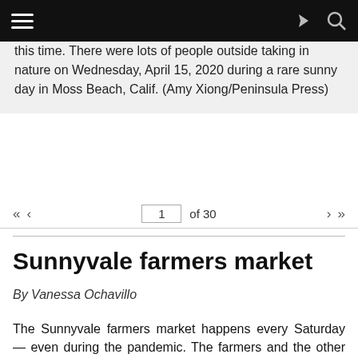Navigation bar with menu, share, and search icons
this time. There were lots of people outside taking in nature on Wednesday, April 15, 2020 during a rare sunny day in Moss Beach, Calif. (Amy Xiong/Peninsula Press)
« ‹  1  of 30  › »
Sunnyvale farmers market
By Vanessa Ochavillo
The Sunnyvale farmers market happens every Saturday — even during the pandemic. The farmers and the other vendors selling baked goods and hot meals are essential businesses according to the state shelter-in-place mandate. But operations are not unchanged